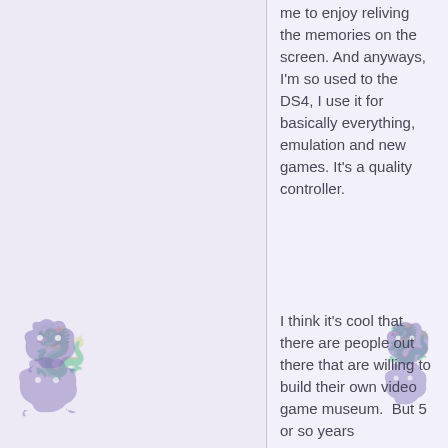me to enjoy reliving the memories on the screen. And anyways, I'm so used to the DS4, I use it for basically everything, emulation and new games. It's a quality controller.
I think it's cool that there are people out there that are willing to build their own video game museum.  But 5 or so years